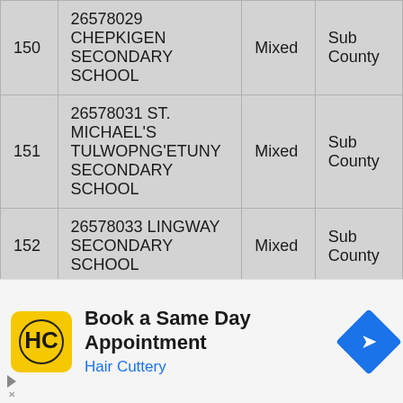| # | School | Type | Level |
| --- | --- | --- | --- |
| 150 | 26578029 CHEPKIGEN SECONDARY SCHOOL | Mixed | Sub County |
| 151 | 26578031 ST. MICHAEL'S TULWOPNG'ETUNY SECONDARY SCHOOL | Mixed | Sub County |
| 152 | 26578033 LINGWAY SECONDARY SCHOOL | Mixed | Sub County |
[Figure (other): Advertisement banner: Hair Cuttery 'Book a Same Day Appointment']